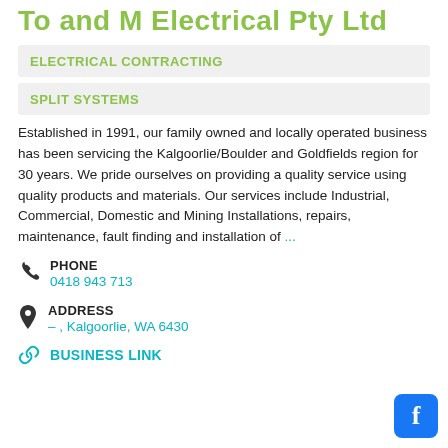To and M Electrical Pty Ltd
ELECTRICAL CONTRACTING
SPLIT SYSTEMS
Established in 1991, our family owned and locally operated business has been servicing the Kalgoorlie/Boulder and Goldfields region for 30 years. We pride ourselves on providing a quality service using quality products and materials. Our services include Industrial, Commercial, Domestic and Mining Installations, repairs, maintenance, fault finding and installation of …
PHONE
0418 943 713
ADDRESS
– , Kalgoorlie, WA 6430
BUSINESS LINK